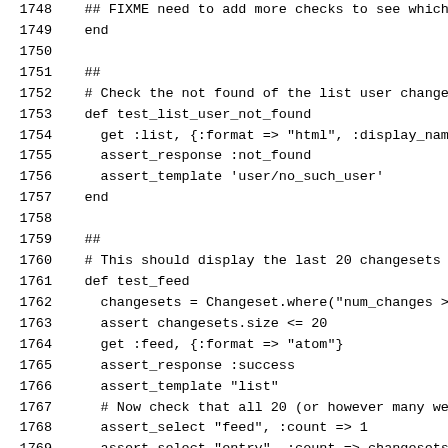Code listing lines 1748-1779, Ruby test code for changeset controller
1748: ## FIXME need to add more checks to see which if ec
1749: end
1750: (blank)
1751: ##
1752: # Check the not found of the list user changesets
1753: def test_list_user_not_found
1754:   get :list, {:format => "html", :display_name => "So
1755:   assert_response :not_found
1756:   assert_template 'user/no_such_user'
1757: end
1758: (blank)
1759: ##
1760: # This should display the last 20 changesets closed.
1761: def test_feed
1762:   changesets = Changeset.where("num_changes > 0").orc
1763:   assert changesets.size <= 20
1764:   get :feed, {:format => "atom"}
1765:   assert_response :success
1766:   assert_template "list"
1767:   # Now check that all 20 (or however many were retur
1768:   assert_select "feed", :count => 1
1769:   assert_select "entry", :count => changesets.size
1770:   changesets.each do |changeset|
1771:     # FIXME this test needs rewriting - test for feed
1772:   end
1773: end
1774: (blank)
1775: ##
1776: # Checks the display of the user changesets feed
1777: def test_feed_user
1778:   user = users(:public_user)
1779:   get :feed, {:format => "atom", :display_name =>  use